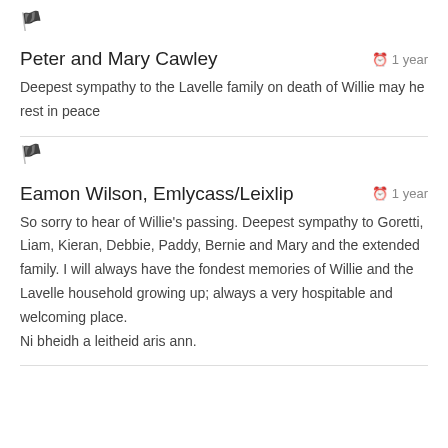[Figure (illustration): Flag/report icon in grey]
Peter and Mary Cawley
1 year
Deepest sympathy to the Lavelle family on death of Willie may he rest in peace
[Figure (illustration): Flag/report icon in grey]
Eamon Wilson, Emlycass/Leixlip
1 year
So sorry to hear of Willie's passing. Deepest sympathy to Goretti, Liam, Kieran, Debbie, Paddy, Bernie and Mary and the extended family. I will always have the fondest memories of Willie and the Lavelle household growing up; always a very hospitable and welcoming place.
Ni bheidh a leitheid aris ann.